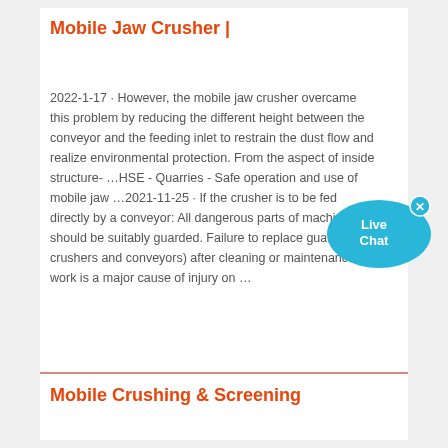Mobile Jaw Crusher |
2022-1-17 · However, the mobile jaw crusher overcame this problem by reducing the different height between the conveyor and the feeding inlet to restrain the dust flow and realize environmental protection. From the aspect of inside structure- …HSE - Quarries - Safe operation and use of mobile jaw …2021-11-25 · If the crusher is to be fed directly by a conveyor: All dangerous parts of machinery should be suitably guarded. Failure to replace guards (on crushers and conveyors) after cleaning or maintenance work is a major cause of injury on …
[Figure (illustration): Live Chat button widget — blue speech bubble shape with 'Live Chat' text and an X close button]
Mobile Crushing & Screening